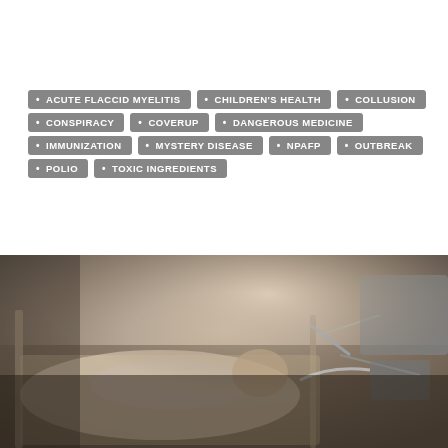[Figure (infographic): Tag cloud showing topic labels: ACUTE FLACCID MYELITIS, CHILDREN'S HEALTH, COLLUSION, CONSPIRACY, COVERUP, DANGEROUS MEDICINE, IMMUNIZATION, MYSTERY DISEASE, NPAFP, OUTBREAK, POLIO, TOXIC INGREDIENTS — displayed as grey pill-shaped badges with bullet points]
[Figure (photo): Photograph of a small infant or newborn lying in a hospital bassinet/incubator, surrounded by medical equipment including tubes and monitoring devices. The image is dimly lit with warm tones.]